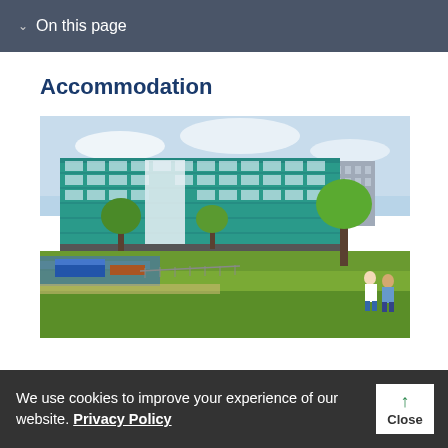On this page
Accommodation
[Figure (photo): A modern teal/turquoise multi-storey university accommodation building beside a canal, with greenery in the foreground and people sitting on grass in the right foreground.]
We use cookies to improve your experience of our website. Privacy Policy